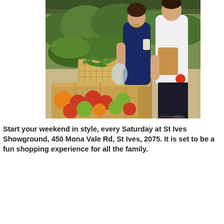[Figure (photo): People shopping at a farmers market vegetable stall. A woman in a dark blue top holds a plastic bag and a cup, while a man in a white t-shirt holds a brown paper bag and a tomato. The stall displays baskets of green vegetables including snap peas and leafy greens, and wooden crates of tomatoes, oranges, and other produce.]
Start your weekend in style, every Saturday at St Ives Showground, 450 Mona Vale Rd, St Ives, 2075. It is set to be a fun shopping experience for all the family.